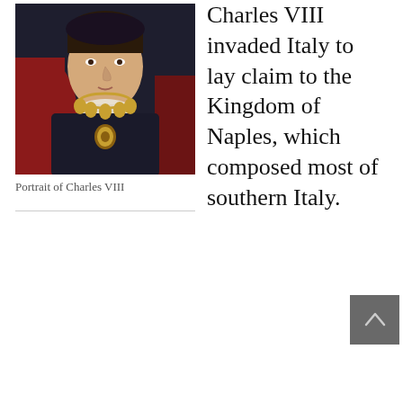[Figure (photo): Portrait painting of Charles VIII, a Renaissance-era painting showing a man wearing a gold necklace/chain with shell pendants, dark clothing, and a white collar, with red draped fabric in the background.]
Portrait of Charles VIII
Charles VIII invaded Italy to lay claim to the Kingdom of Naples, which composed most of southern Italy.